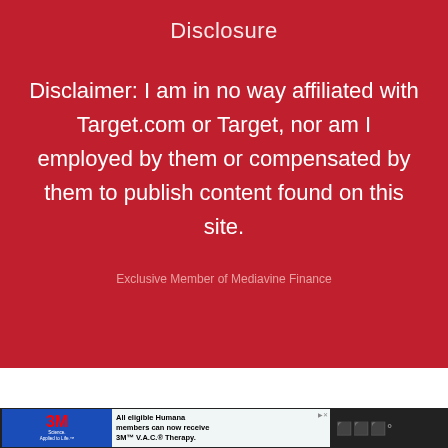Disclosure
Disclaimer: I am in no way affiliated with Target.com or Target, nor am I employed by them or compensated by them to publish content found on this site.
Exclusive Member of Mediavine Finance
[Figure (screenshot): Advertisement banner: 3M Science Applied to Life ad with Humana members text about 3M V.A.C. Therapy]